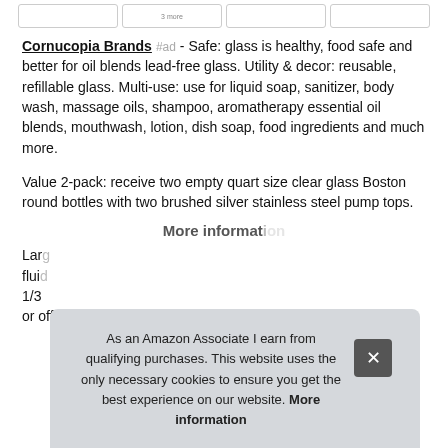[Figure (screenshot): Four small thumbnail image boxes in a horizontal row at the top of the page]
Cornucopia Brands #ad - Safe: glass is healthy, food safe and better for oil blends lead-free glass. Utility & decor: reusable, refillable glass. Multi-use: use for liquid soap, sanitizer, body wash, massage oils, shampoo, aromatherapy essential oil blends, mouthwash, lotion, dish soap, food ingredients and much more.
Value 2-pack: receive two empty quart size clear glass Boston round bottles with two brushed silver stainless steel pump tops.
More information
Larg fluid 1/3 or office. Plastic dip tube and interior parts are bpa-free
As an Amazon Associate I earn from qualifying purchases. This website uses the only necessary cookies to ensure you get the best experience on our website. More information